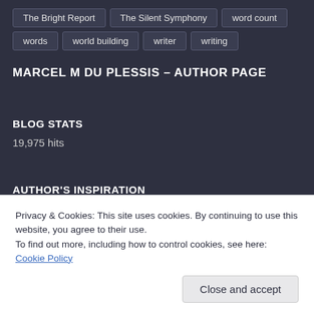The Bright Report
The Silent Symphony
word count
words
world building
writer
writing
MARCEL M DU PLESSIS – AUTHOR PAGE
BLOG STATS
19,975 hits
AUTHOR'S INSPIRATION
Privacy & Cookies: This site uses cookies. By continuing to use this website, you agree to their use.
To find out more, including how to control cookies, see here: Cookie Policy
Close and accept